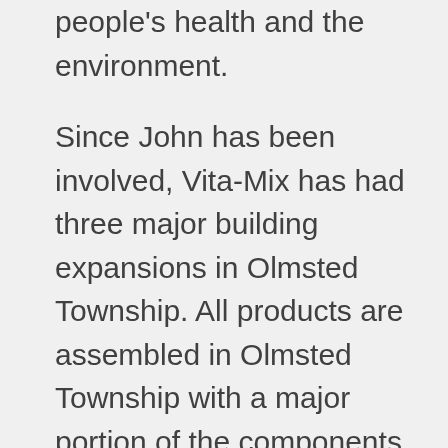people's health and the environment.
Since John has been involved, Vita-Mix has had three major building expansions in Olmsted Township. All products are assembled in Olmsted Township with a major portion of the components suppliers being within 20 miles. The total impact on the Greater Cleveland economy and employment is very significant.
He holds a Bachelor of Science in Mechanical Engineering from Case Western Reserve University, and earned an MBA degree from the University of Buffalo. He currently resides in Olmsted